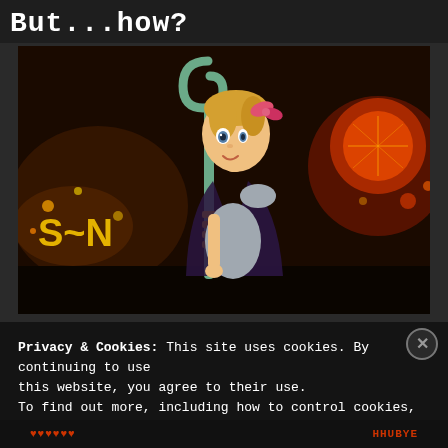But...how?
[Figure (photo): A CGI animated female toy character (Bo Peep from Toy Story 4) holding a green shepherd's crook staff, wearing a grey dress and dark purple cape with a pink bow in her blonde hair. She stands in front of a dark nighttime fairground scene with bokeh lights in the background.]
Privacy & Cookies: This site uses cookies. By continuing to use this website, you agree to their use.
To find out more, including how to control cookies, see here:
Cookie Policy
Close and accept